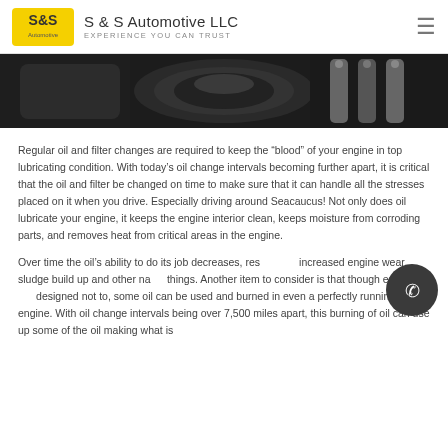S & S Automotive LLC
EXPERIENCE YOU CAN TRUST
[Figure (photo): Close-up photo of dark engine components including what appears to be an air filter/intake and metallic engine parts]
Regular oil and filter changes are required to keep the “blood” of your engine in top lubricating condition. With today’s oil change intervals becoming further apart, it is critical that the oil and filter be changed on time to make sure that it can handle all the stresses placed on it when you drive. Especially driving around Seacaucus! Not only does oil lubricate your engine, it keeps the engine interior clean, keeps moisture from corroding parts, and removes heat from critical areas in the engine.
Over time the oil’s ability to do its job decreases, resulting in increased engine wear, sludge build up and other nasty things. Another item to consider is that though engines are designed not to, some oil can be used and burned in even a perfectly running engine. With oil change intervals being over 7,500 miles apart, this burning of oil can use up some of the oil making what is